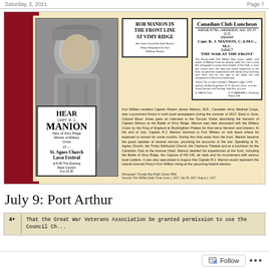Saturday, 2, 2021 ... Page ?
[Figure (photo): Composite image showing a portrait photo of Captain R.J. Manion in military uniform, newspaper headlines reading 'BOB MANION IN THE FRONT LINE AT VIMY RIDGE', a Canadian Club Luncheon advertisement featuring Capt. R.J. Manion C.A.M.C., M.C. speaking on 'The War at the Front', and a promotional sign for 'HEAR CAPT. R.J. MANION at St. Agnes Church Lawn Festival']
Fort William resident Captain Robert James Manion, M.D., Canadian Army Medical Corps, was a prominent fixture in both local newspapers during the summer of 1917. Early in June, Colonel Elson Jones gave an interview to the Toronto Globe describing the heroism of Captain Manion at the Battle of Vimy Ridge. Manion was later decorated with the Military Cross by the King of England at Buckingham Palace for that same heroism and bravery. At the end of July, Captain R.J. Manion returned to Fort William on sick leave where he expected to remain for some months. During this time away from the front, Manion became the guest speaker at several venues, providing his accounts of the war. Speaking at St. Agnes Church, the Trinity Methodist Church, the Orpheum Theatre and at a luncheon for the Canadian Club at the Avenue Hotel, Manion detailed his experiences at the front, including the Battle of Vimy Ridge, the capture of Hill 140, air raids and his involvement with various local soldiers. It was also speculated in August that Captain R.J. Manion would represent the Liberal-Unionist Party's Fort William riding at the upcoming federal election.
Monograph: Thunder Bay Public Library #556. Sources: Fort William Daily Times June 1, 1917, July 26, 1917; August 1, 1917
July 9: Port Arthur
4+   That the Great War Veterans Association be granted permission to use the Council Ch...